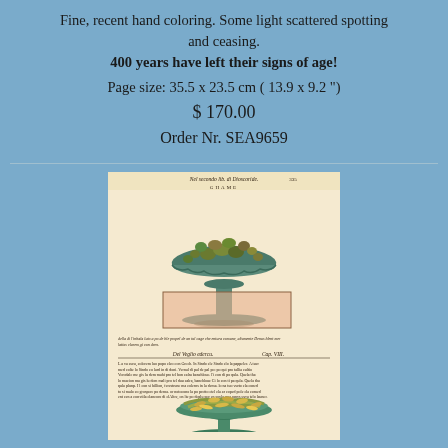Fine, recent hand coloring. Some light scattered spotting and ceasing. 400 years have left their signs of age!
Page size: 35.5 x 23.5 cm ( 13.9 x 9.2 ")
$ 170.00
Order Nr. SEA9659
[Figure (photo): A scanned antique book page showing a colored woodcut illustration of a decorative pedestal bowl filled with fruits or nuts, with text in Italian above and below the image including 'Nel secondo lib. di Dioscoride.' and chapter heading 'Cap. VIII.' with dense italic text. A second illustration at the bottom shows another pedestal dish with elongated items (possibly cucumbers or pods).]